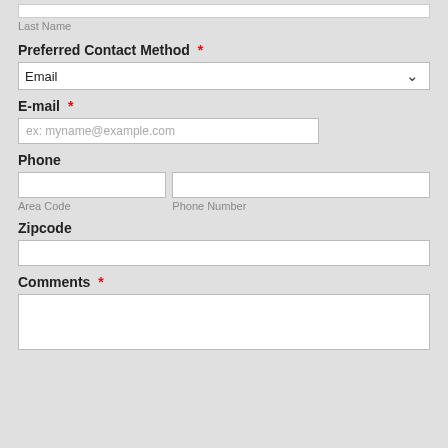Last Name
Preferred Contact Method *
Email
E-mail *
ex: myname@example.com
Phone
Area Code
Phone Number
Zipcode
Comments *